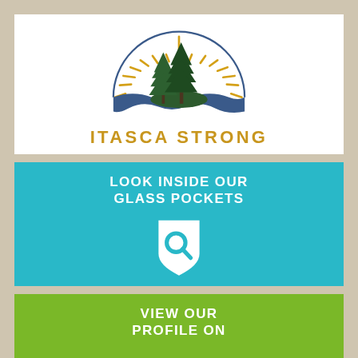[Figure (logo): Itasca Strong logo: two pine trees on a hill with a rising sun with rays behind them and a blue semicircle arc, all above stylized blue water/hills, with the text ITASCA STRONG in gold letters below]
[Figure (infographic): Teal panel with white text LOOK INSIDE OUR GLASS POCKETS and a white shield icon containing a teal magnifying glass]
[Figure (infographic): Green panel with white text VIEW OUR PROFILE ON and a partially visible circular badge/icon at the bottom]